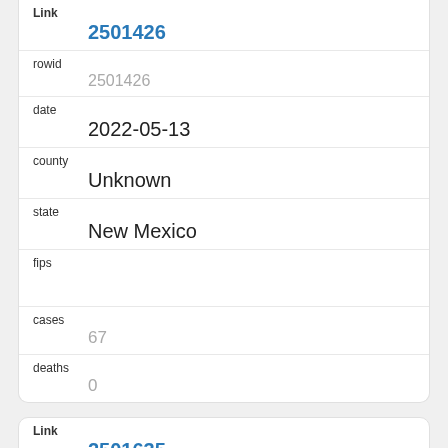| Field | Value |
| --- | --- |
| Link | 2501426 |
| rowid | 2501426 |
| date | 2022-05-13 |
| county | Unknown |
| state | New Mexico |
| fips |  |
| cases | 67 |
| deaths | 0 |
| Field | Value |
| --- | --- |
| Link | 2501635 |
| rowid | 2501635 |